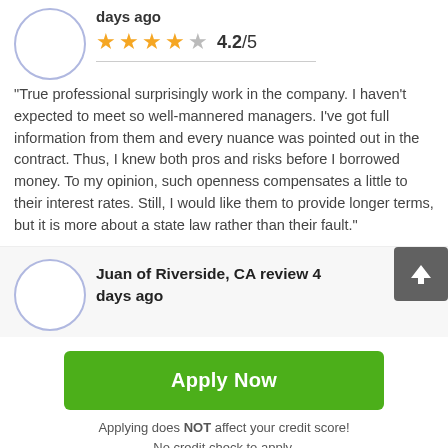days ago
[Figure (other): Star rating showing 4 filled gold stars and 1 empty grey star, with rating 4.2/5]
"True professional surprisingly work in the company. I haven't expected to meet so well-mannered managers. I've got full information from them and every nuance was pointed out in the contract. Thus, I knew both pros and risks before I borrowed money. To my opinion, such openness compensates a little to their interest rates. Still, I would like them to provide longer terms, but it is more about a state law rather than their fault."
Juan of Riverside, CA review 4 days ago
Apply Now
Applying does NOT affect your credit score!
No credit check to apply.